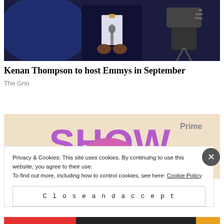[Figure (photo): Photo of a man in a dark navy suit holding a microphone, standing on a stage with blue lighting and camera equipment visible in background.]
Kenan Thompson to host Emmys in September
The Grio
[Figure (photo): Partial photo showing a person with pink/purple hair against a light background with purple text partially visible reading 'SHOW' or similar.]
Privacy & Cookies: This site uses cookies. By continuing to use this website, you agree to their use.
To find out more, including how to control cookies, see here: Cookie Policy
Close and accept